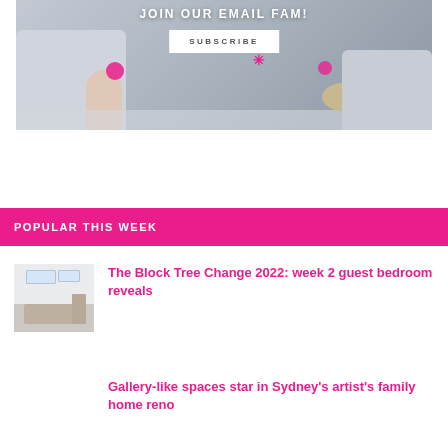[Figure (photo): Email subscription banner showing a living room interior with sofas and a decorative stool. Text overlay reads 'JOIN OUR EMAIL FAM!' with a white SUBSCRIBE button and pink asterisk.]
POPULAR THIS WEEK
[Figure (photo): Thumbnail photo of a bright bedroom with skylights and a bed with patterned bedding.]
The Block Tree Change 2022: week 2 guest bedroom reveals
Gallery-like spaces star in Sydney's artist's family home reno